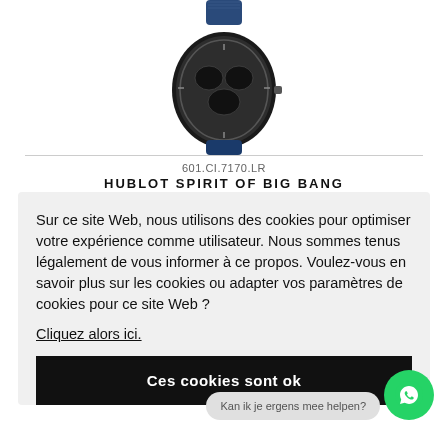[Figure (photo): Hublot Spirit of Big Bang luxury watch with blue leather strap, skeleton dial, partially shown at top of page]
601.CI.7170.LR
HUBLOT SPIRIT OF BIG BANG
Sur ce site Web, nous utilisons des cookies pour optimiser votre expérience comme utilisateur. Nous sommes tenus légalement de vous informer à ce propos. Voulez-vous en savoir plus sur les cookies ou adapter vos paramètres de cookies pour ce site Web ?
Cliquez alors ici.
Ces cookies sont ok
Kan ik je ergens mee helpen?
[Figure (photo): Hublot watch partially visible at bottom of page]